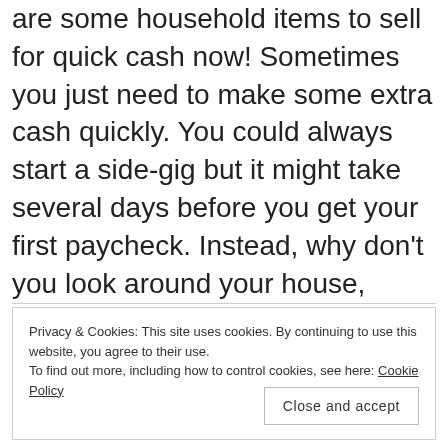are some household items to sell for quick cash now! Sometimes you just need to make some extra cash quickly. You could always start a side-gig but it might take several days before you get your first paycheck. Instead, why don't you look around your house, garage, or [...]
Privacy & Cookies: This site uses cookies. By continuing to use this website, you agree to their use.
To find out more, including how to control cookies, see here: Cookie Policy